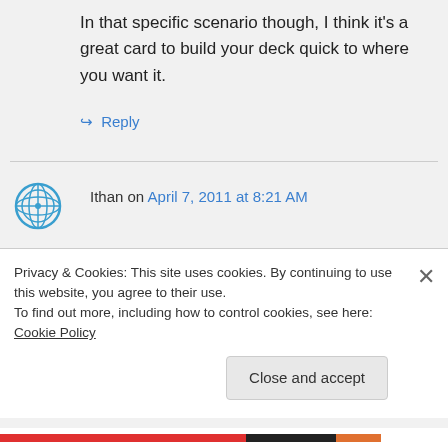In that specific scenario though, I think it's a great card to build your deck quick to where you want it.
↪ Reply
Ithan on April 7, 2011 at 8:21 AM
👍 1 👎 0 ℹ
Contraband is the only Treasure
Privacy & Cookies: This site uses cookies. By continuing to use this website, you agree to their use.
To find out more, including how to control cookies, see here: Cookie Policy
Close and accept